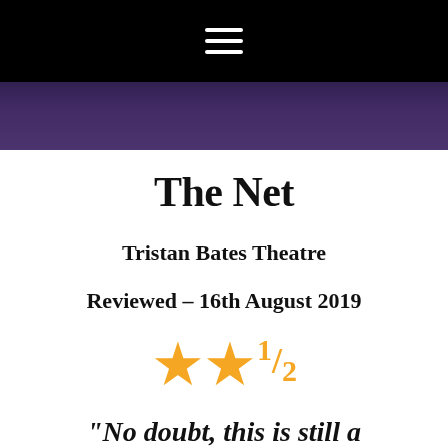☰ (hamburger menu)
[Figure (photo): Photo strip showing performers on stage, dark purple/blue toned background]
The Net
Tristan Bates Theatre
Reviewed – 16th August 2019
[Figure (other): Star rating: 2 and a half stars (★★½) in orange]
“No doubt, this is still a